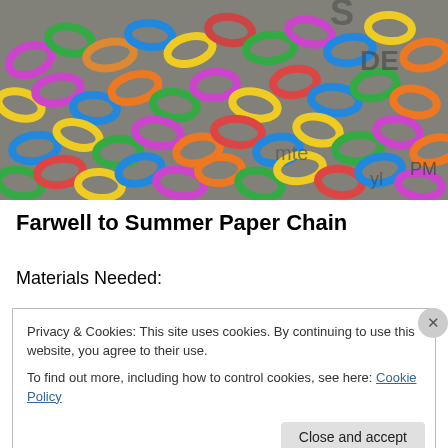[Figure (photo): Colorful paper chain links in orange, green, blue, purple, yellow, and other colors hanging against a background with partial text.]
Farwell to Summer Paper Chain
Materials Needed:
Privacy & Cookies: This site uses cookies. By continuing to use this website, you agree to their use. To find out more, including how to control cookies, see here: Cookie Policy
Close and accept